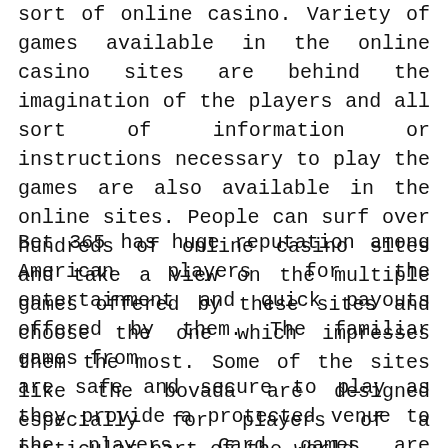sort of online casino. Variety of games available in the online casino sites are behind the imagination of the players and all sort of information or instructions necessary to play the games are also available in the online sites. People can surf over hundreds of online casino sites and take a view on the multiple games offered by these sites and choose the one which impresses them the most. Some of the sites like the bovada are designed especially for players of a particular part of the world.
Bet 365 has huge reputation among American players for the entertainment and quick payouts offered by them. The familiar games from are safe and secure to play as they provide a protected venue to the players. Card games are specifically good with these sites and the graphics used are really eye catching. New version of different types of slot games from the site is introduced with enhanced features. Software used by the site is real